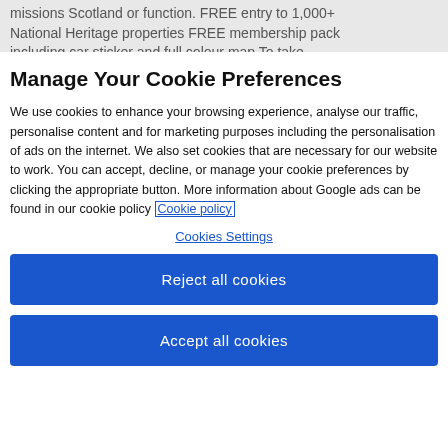missions Scotland or function. FREE entry to 1,000+ National Heritage properties FREE membership pack including car sticker and full colour map To take
Manage Your Cookie Preferences
We use cookies to enhance your browsing experience, analyse our traffic, personalise content and for marketing purposes including the personalisation of ads on the internet. We also set cookies that are necessary for our website to work. You can accept, decline, or manage your cookie preferences by clicking the appropriate button. More information about Google ads can be found in our cookie policy Cookie policy
Cookies Settings
Reject all cookies
Accept all cookies